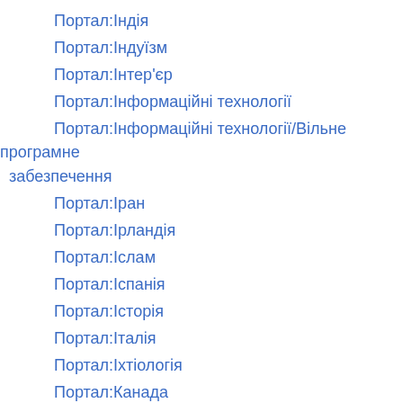Портал:Індія
Портал:Індуїзм
Портал:Інтер'єр
Портал:Інформаційні технології
Портал:Інформаційні технології/Вільне програмне забезпечення
Портал:Іран
Портал:Ірландія
Портал:Іслам
Портал:Іспанія
Портал:Історія
Портал:Італія
Портал:Іхтіологія
Портал:Канада
Портал:Караїми
Портал:Каталонія
Портал:Католицтво